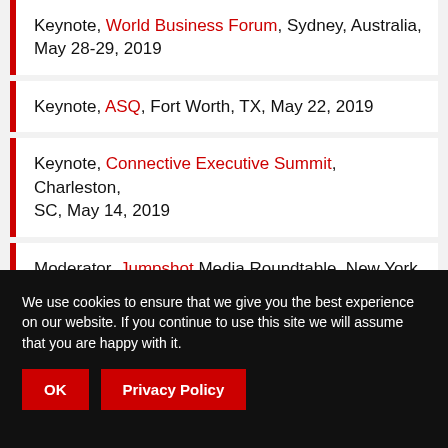Keynote, World Business Forum, Sydney, Australia, May 28-29, 2019
Keynote, ASQ, Fort Worth, TX, May 22, 2019
Keynote, Connective Executive Summit, Charleston, SC, May 14, 2019
Moderator, Jumpshot Media Roundtable, New York,
We use cookies to ensure that we give you the best experience on our website. If you continue to use this site we will assume that you are happy with it.